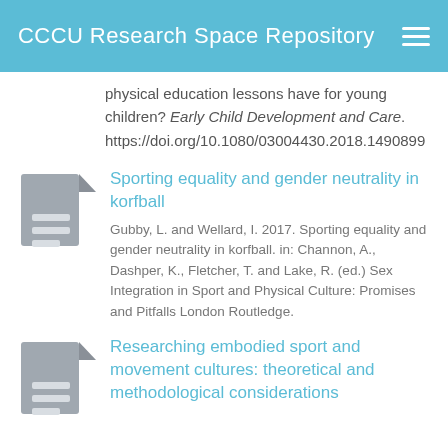CCCU Research Space Repository
physical education lessons have for young children? Early Child Development and Care. https://doi.org/10.1080/03004430.2018.1490899
Sporting equality and gender neutrality in korfball
Gubby, L. and Wellard, I. 2017. Sporting equality and gender neutrality in korfball. in: Channon, A., Dashper, K., Fletcher, T. and Lake, R. (ed.) Sex Integration in Sport and Physical Culture: Promises and Pitfalls London Routledge.
Researching embodied sport and movement cultures: theoretical and methodological considerations